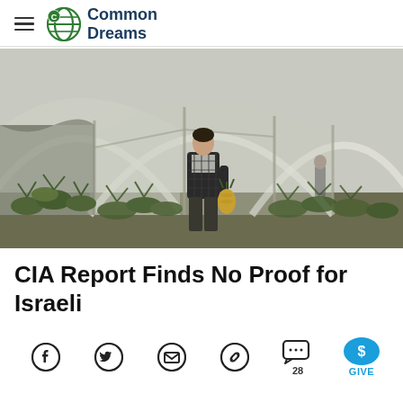Common Dreams
[Figure (photo): A man standing in a greenhouse filled with pineapple plants, holding a pineapple. The greenhouse has a curved metal frame with plastic sheeting.]
CIA Report Finds No Proof for Israeli
[Figure (infographic): Social sharing icons: Facebook, Twitter, Email, Link, Comments (28), and a blue GIVE button with dollar sign]